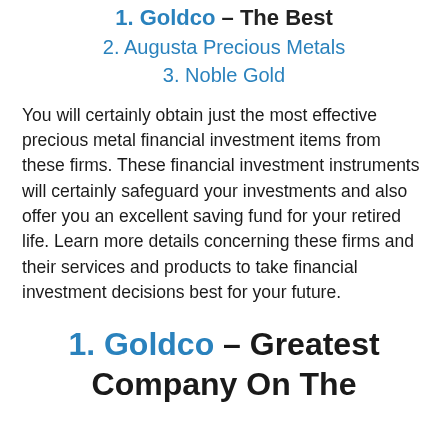1. Goldco – The Best
2. Augusta Precious Metals
3. Noble Gold
You will certainly obtain just the most effective precious metal financial investment items from these firms. These financial investment instruments will certainly safeguard your investments and also offer you an excellent saving fund for your retired life. Learn more details concerning these firms and their services and products to take financial investment decisions best for your future.
1. Goldco – Greatest Company On The Market